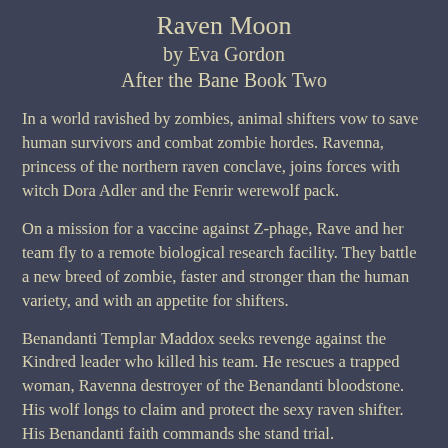Raven Moon
by Eva Gordon
After the Bane Book Two
In a world ravished by zombies, animal shifters vow to save human survivors and combat zombie hordes. Ravenna, princess of the northern raven conclave, joins forces with witch Dora Adler and the Fenrir werewolf pack.
On a mission for a vaccine against Z-phage, Rave and her team fly to a remote biological research facility. They battle a new breed of zombie, faster and stronger than the human variety, and with an appetite for shifters.
Benandanti Templar Maddox seeks revenge against the Kindred leader who killed his team. He rescues a trapped woman, Ravenna destroyer of the Benandanti bloodstone. His wolf longs to claim and protect the sexy raven shifter. His Benandanti faith commands she stand trial.
While facing zombies, merciless tankers, and zealous Benandanti werewolves, Rave and Maddox struggle against their